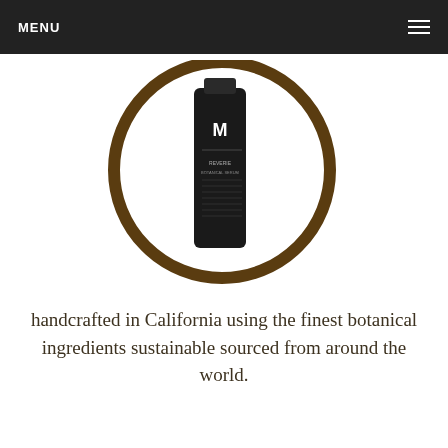MENU
[Figure (photo): A dark cylindrical product bottle with label 'M' inside a circular brown-rimmed frame on white background]
handcrafted in California using the finest botanical ingredients sustainable sourced from around the world.
SHOP REVERIE
OUR GALLERY